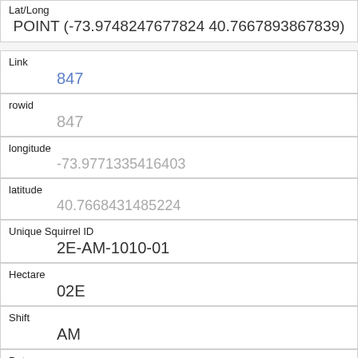| Lat/Long | POINT (-73.9748247677824 40.7667893867839) |
| Link | 847 |
| rowid | 847 |
| longitude | -73.9771335416403 |
| latitude | 40.7668431485224 |
| Unique Squirrel ID | 2E-AM-1010-01 |
| Hectare | 02E |
| Shift | AM |
| Date | 10102018 |
| Hectare Squirrel Number |  |